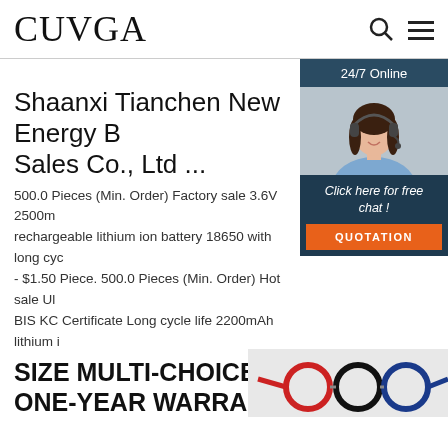CUVGA
[Figure (photo): Customer service agent woman with headset smiling, with '24/7 Online' header, 'Click here for free chat!' text, and QUOTATION button]
Shaanxi Tianchen New Energy B Sales Co., Ltd ...
500.0 Pieces (Min. Order) Factory sale 3.6V 2500mA rechargeable lithium ion battery 18650 with long cyc - $1.50 Piece. 500.0 Pieces (Min. Order) Hot sale UL BIS KC Certificate Long cycle life 2200mAh lithium ion 3.7v recharge battery. $0.80 - ...
Get Price
SIZE MULTI-CHOICE
ONE-YEAR WARRANTY
[Figure (photo): Glasses/eyewear product image at the bottom right]